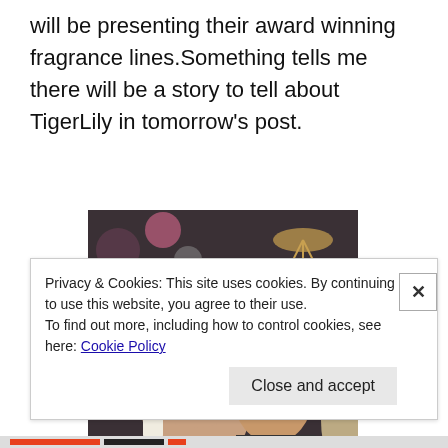will be presenting their award winning fragrance lines.Something tells me there will be a story to tell about TigerLily in tomorrow's post.
[Figure (photo): Indoor photo of a bald man leaning forward and a woman with dark hair beside him, in front of a floral-patterned wall with a chandelier in the background.]
Privacy & Cookies: This site uses cookies. By continuing to use this website, you agree to their use.
To find out more, including how to control cookies, see here: Cookie Policy